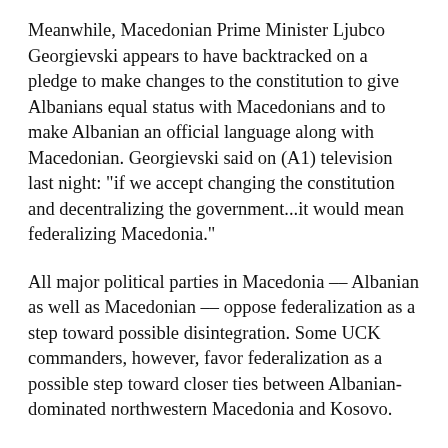Meanwhile, Macedonian Prime Minister Ljubco Georgievski appears to have backtracked on a pledge to make changes to the constitution to give Albanians equal status with Macedonians and to make Albanian an official language along with Macedonian. Georgievski said on (A1) television last night: "if we accept changing the constitution and decentralizing the government...it would mean federalizing Macedonia."
All major political parties in Macedonia -- Albanian as well as Macedonian -- oppose federalization as a step toward possible disintegration. Some UCK commanders, however, favor federalization as a possible step toward closer ties between Albanian-dominated northwestern Macedonia and Kosovo.
Georgievski in his televised remarks last night